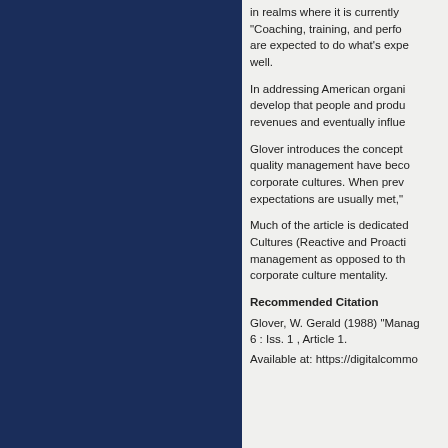in realms where it is currently "Coaching, training, and perfo are expected to do what's expe well.
In addressing American organi develop that people and produ revenues and eventually influe
Glover introduces the concept quality management have beco corporate cultures. When prev expectations are usually met,"
Much of the article is dedicated Cultures (Reactive and Proacti management as opposed to th corporate culture mentality.
Recommended Citation
Glover, W. Gerald (1988) "Manag 6 : Iss. 1 , Article 1.
Available at: https://digitalcommo